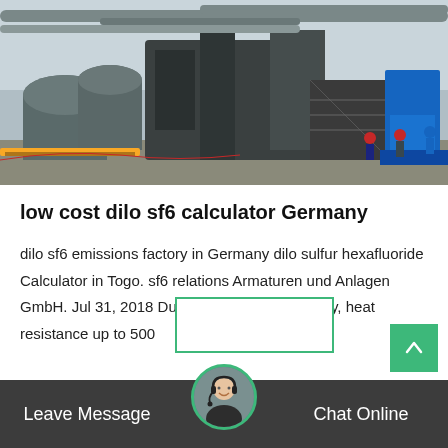[Figure (photo): Industrial facility with large cylindrical equipment, pipes, and workers in hard hats on an outdoor site with a blue scissor lift in the background]
low cost dilo sf6 calculator Germany
dilo sf6 emissions factory in Germany dilo sulfur hexafluoride Calculator in Togo. sf6 relations Armaturen und Anlagen GmbH. Jul 31, 2018 Due to its chemical stability, heat resistance up to 500
[Figure (photo): Customer service chat avatar - woman with headset in circular frame with green border, popup box above, on dark chat bar with Leave Message and Chat Online buttons]